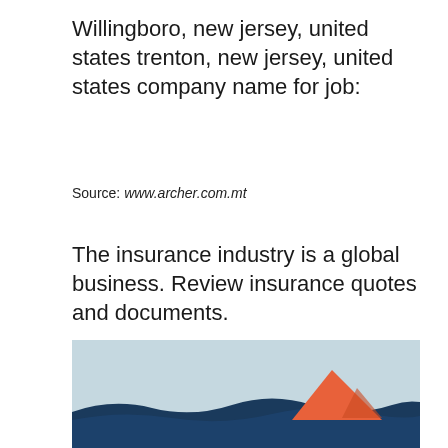Willingboro, new jersey, united states trenton, new jersey, united states company name for job:
Source: www.archer.com.mt
The insurance industry is a global business. Review insurance quotes and documents.
[Figure (illustration): An illustration with a light blue background showing dark blue waves at the bottom and an orange/red triangular shape resembling a sail or boat emerging from the waves on the right side.]